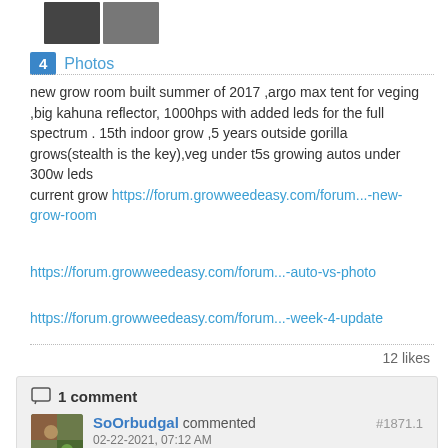[Figure (photo): Two small thumbnail photos side by side at the top of the post]
4 Photos
new grow room built summer of 2017 ,argo max tent for veging ,big kahuna reflector, 1000hps with added leds for the full spectrum . 15th indoor grow ,5 years outside gorilla grows(stealth is the key),veg under t5s growing autos under 300w leds
current grow https://forum.growweedeasy.com/forum...-new-grow-room
https://forum.growweedeasy.com/forum...-auto-vs-photo
https://forum.growweedeasy.com/forum...-week-4-update
12 likes
1 comment
SoOrbudgal commented #1871.1
02-22-2021, 07:12 AM
Man what great grows going on. Boy OJ those clones are awesome how fun to keep the genetics going good for you 🙂 That gravity system is something else A+ you guys and your ideas the work you do for the love of the grow.